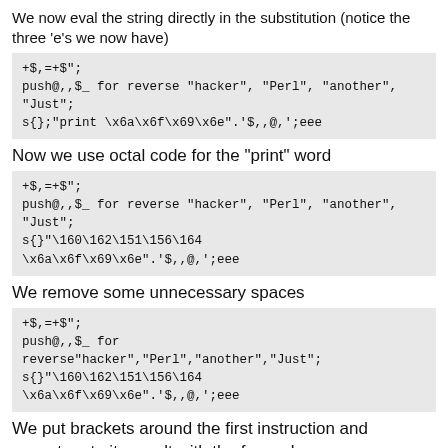We now eval the string directly in the substitution (notice the three 'e's we now have)
+$,=+$";
push@,,$_ for reverse "hacker", "Perl", "another",
"Just";
s{};"print \x6a\x6f\x69\x6e".'$,,@,';eee
Now we use octal code for the "print" word
+$,=+$";
push@,,$_ for reverse "hacker", "Perl", "another",
"Just";
s{};"\160\162\151\156\164
\x6a\x6f\x69\x6e".'$,,@,';eee
We remove some unnecessary spaces
+$,=+$";
push@,,$_ for
reverse"hacker","Perl","another","Just";
s{};"\160\162\151\156\164
\x6a\x6f\x69\x6e".'$,,@,';eee
We put brackets around the first instruction and concatenate its result with the for cycle
+$,=+$";